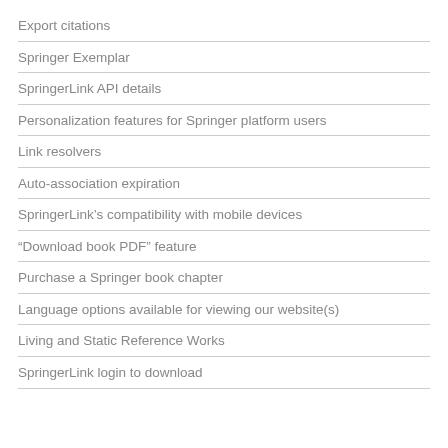Export citations
Springer Exemplar
SpringerLink API details
Personalization features for Springer platform users
Link resolvers
Auto-association expiration
SpringerLink's compatibility with mobile devices
“Download book PDF” feature
Purchase a Springer book chapter
Language options available for viewing our website(s)
Living and Static Reference Works
SpringerLink login to download